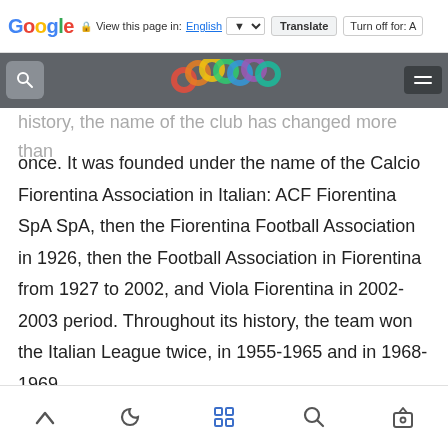Google | View this page in: English [dropdown] Translate | Turn off for: A
[Figure (screenshot): Google app browser navigation bar with search button, colorful circles logo, and menu button]
history, the name of the club has changed more than once. It was founded under the name of the Calcio Fiorentina Association in Italian: ACF Fiorentina SpA SpA, then the Fiorentina Football Association in 1926, then the Football Association in Fiorentina from 1927 to 2002, and Viola Fiorentina in 2002-2003 period. Throughout its history, the team won the Italian League twice, in 1955-1965 and in 1968-1969.
Browser bottom toolbar with navigation icons